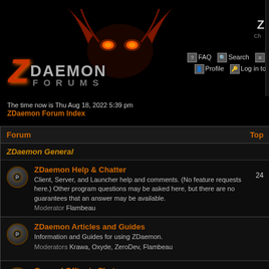[Figure (screenshot): ZDaemon Forums logo with demon head silhouette, glowing orange eyes, red horns, and stylized Z logo with DAEMON FORUMS text]
The time now is Thu Aug 18, 2022 5:39 pm
ZDaemon Forum Index
| Forum | Top |
| --- | --- |
| ZDaemon Help & Chatter
Client, Server, and Launcher help and comments. (No feature requests here.) Other program questions may be asked here, but there are no guarantees that an answer may be available.
Moderator Flambeau | 24 |
| ZDaemon Articles and Guides
Information and Guides for using ZDaemon.
Moderators Krawa, Oxyde, ZeroDev, Flambeau |  |
| General Offtopic Chat
Miscellaneous banter - there may be some older help questions & responses in this forum as well. Please direct all help questions to the Help forum.
Moderator Flambeau | 43 |
ZDaemon General